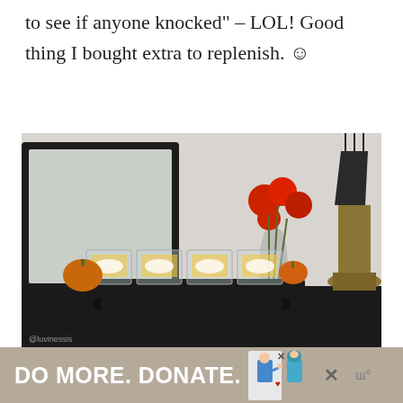to see if anyone knocked" – LOL! Good thing I bought extra to replenish. ☺
[Figure (photo): A Halloween-themed table decoration on a black console table. Four square glass votive holders filled with candy corn and white candles sit on a black tray, flanked by glittery orange pumpkins. Behind them is a clear vase with red flowers and a large brass-toned lamp. A black ornate mirror is visible in the background.]
And finally, this year I went to the dollar stores in my neighborhood (I had to go to
[Figure (screenshot): Advertisement bar at bottom of page: tan/beige background with bold white text 'DO MORE. DONATE.' and two small illustrated figures (a woman handing something, a woman in hijab). There are X close buttons on the right side.]